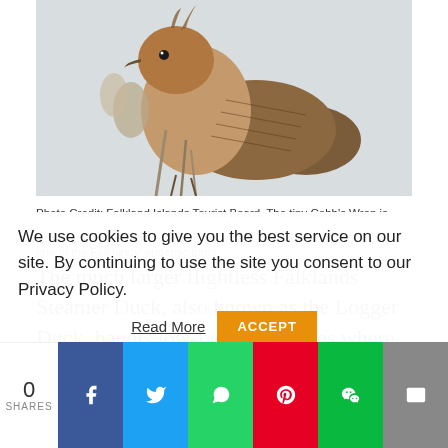[Figure (photo): Close-up photo of a small brown bird (Cobb's Wren) perched among dried plant stems against a light background. Photo Credit: Falkland Islands Tourist Board.]
Photo Credit: Falkland Islands Tourist Board. The tiny Cobb's Wren is one of the Falklands' endemic birds.
The much larger flightless Falklands Steamer Duck, also known as the Logger Duck, haunts low-lying coastlines where it can shelter from the forceful westerly
We use cookies to give you the best service on our site. By continuing to use the site you consent to our Privacy Policy.
Read More   ACCEPT